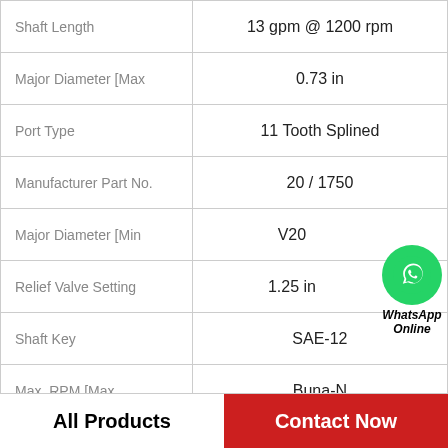| Property | Value |
| --- | --- |
| Shaft Length | 13 gpm @ 1200 rpm |
| Major Diameter [Max | 0.73 in |
| Port Type | 11 Tooth Splined |
| Manufacturer Part No. | 20 / 1750 |
| Major Diameter [Min | V20 |
| Relief Valve Setting | 1.25 in |
| Shaft Key | SAE-12 |
| Max. RPM [Max | Buna-N |
|  |  |
[Figure (other): WhatsApp Online chat button with green WhatsApp logo circle and bold italic text 'WhatsApp Online']
All Products
Contact Now